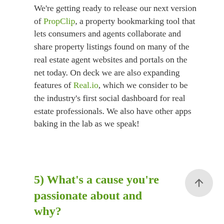We're getting ready to release our next version of PropClip, a property bookmarking tool that lets consumers and agents collaborate and share property listings found on many of the real estate agent websites and portals on the net today. On deck we are also expanding features of Real.io, which we consider to be the industry's first social dashboard for real estate professionals. We also have other apps baking in the lab as we speak!
5) What's a cause you're passionate about and why?